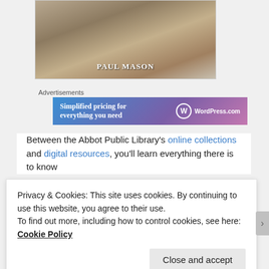[Figure (photo): Book cover image showing what appears to be a horseshoe crab or similar creature on sand, with the author name 'Paul Mason' displayed at the bottom in white serif text]
Advertisements
[Figure (infographic): WordPress.com advertisement banner with gradient blue-to-purple background. Text reads 'Simplified pricing for everything you need' with the WordPress.com logo on the right.]
Between the Abbot Public Library's online collections and digital resources, you'll learn everything there is to know
Privacy & Cookies: This site uses cookies. By continuing to use this website, you agree to their use.
To find out more, including how to control cookies, see here: Cookie Policy